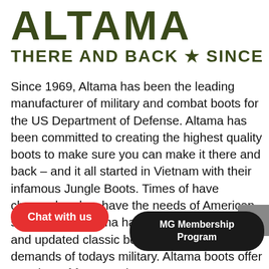[Figure (logo): ALTAMA brand logo in dark olive/army green bold uppercase letters, cropped on right side]
THERE AND BACK ★ SINCE 19
Since 1969, Altama has been the leading manufacturer of military and combat boots for the US Department of Defense. Altama has been committed to creating the highest quality boots to make sure you can make it there and back – and it all started in Vietnam with their infamous Jungle Boots. Times of have changed and so have the needs of American soldiers and Altama has returned with new and updated classic boots to meet the demands of todays military. Altama boots offer a variety of features, including Gore-Tex linings, Side Zippers, slip resistant outsoles, toe shoes, puncture resistant midsoles made in the US that are Berry Co...
[Figure (other): Red oval Chat with us button overlay]
[Figure (other): Black rounded rectangle MG Membership Program button overlay]